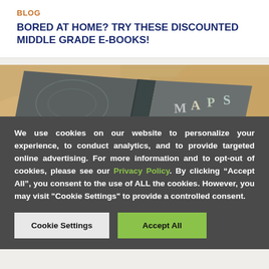BLOG
BORED AT HOME? TRY THESE DISCOUNTED MIDDLE GRADE E-BOOKS!
[Figure (photo): Open book titled MAPS placed on a crumpled kraft paper background, photographed from above at an angle.]
We use cookies on our website to personalize your experience, to conduct analytics, and to provide targeted online advertising. For more information and to opt-out of cookies, please see our Privacy Policy. By clicking “Accept All”, you consent to the use of ALL the cookies. However, you may visit "Cookie Settings" to provide a controlled consent.